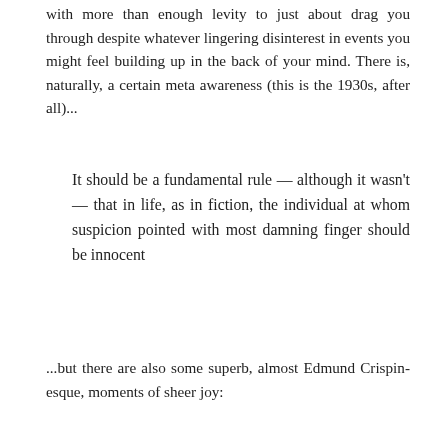with more than enough levity to just about drag you through despite whatever lingering disinterest in events you might feel building up in the back of your mind. There is, naturally, a certain meta awareness (this is the 1930s, after all)...
It should be a fundamental rule — although it wasn't — that in life, as in fiction, the individual at whom suspicion pointed with most damning finger should be innocent
...but there are also some superb, almost Edmund Crispin-esque, moments of sheer joy: